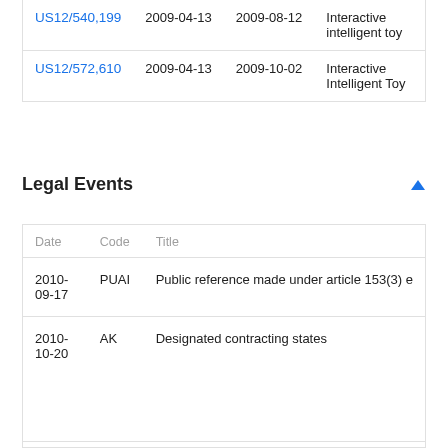|  | Date | Date | Title |
| --- | --- | --- | --- |
| US12/540,199 | 2009-04-13 | 2009-08-12 | Interactive intelligent toy |
| US12/572,610 | 2009-04-13 | 2009-10-02 | Interactive Intelligent Toy |
Legal Events
| Date | Code | Title |
| --- | --- | --- |
| 2010-09-17 | PUAI | Public reference made under article 153(3) e |
| 2010-10-20 | AK | Designated contracting states |
| 2010-10-20 | AX | Request for extension of the european paten |